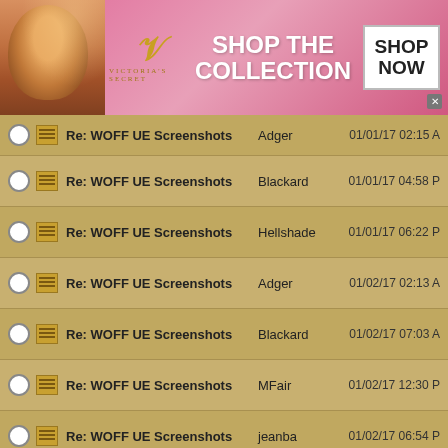[Figure (screenshot): Victoria's Secret advertisement banner at top of page with model, VS logo, 'SHOP THE COLLECTION' text, and 'SHOP NOW' button]
|  |  | Subject | Sender | Date |
| --- | --- | --- | --- | --- |
| ○ | ▦ | Re: WOFF UE Screenshots | Adger | 01/01/17 02:15 A |
| ○ | ▦ | Re: WOFF UE Screenshots | Blackard | 01/01/17 04:58 P |
| ○ | ▦ | Re: WOFF UE Screenshots | Hellshade | 01/01/17 06:22 P |
| ○ | ▦ | Re: WOFF UE Screenshots | Adger | 01/02/17 02:13 A |
| ○ | ▦ | Re: WOFF UE Screenshots | Blackard | 01/02/17 07:03 A |
| ○ | ▦ | Re: WOFF UE Screenshots | MFair | 01/02/17 12:30 P |
| ○ | ▦ | Re: WOFF UE Screenshots | jeanba | 01/02/17 06:54 P |
| ○ | ▦ | Re: WOFF UE Screenshots | MFair | 01/02/17 10:00 P |
| ○ | ▦ | Re: WOFF UE Screenshots | Blackard | 01/03/17 12:52 A |
| ○ | ▦ | Re: WOFF UE Screenshots | Polovski | 01/03/17 03:42 P |
[Figure (screenshot): Victoria's Secret advertisement banner at bottom of page with model, VS logo, 'SHOP THE COLLECTION' text, and 'SHOP NOW' button]